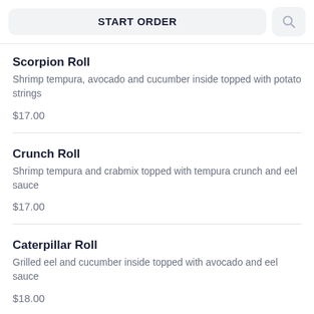START ORDER
Scorpion Roll
Shrimp tempura, avocado and cucumber inside topped with potato strings
$17.00
Crunch Roll
Shrimp tempura and crabmix topped with tempura crunch and eel sauce
$17.00
Caterpillar Roll
Grilled eel and cucumber inside topped with avocado and eel sauce
$18.00